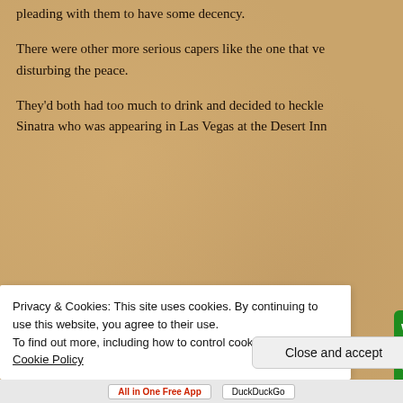pleading with them to have some decency.
There were other more serious capers like the one that ve… disturbing the peace.
They'd both had too much to drink and decided to heckle… Sinatra who was appearing in Las Vegas at the Desert Inn…
[Figure (screenshot): Green advertisement overlay: 'We guard your WordPress site. You run your business.' with a 'Secure Your Site' button]
Privacy & Cookies: This site uses cookies. By continuing to use this website, you agree to their use.
To find out more, including how to control cookies, see here: Cookie Policy
Close and accept
[Figure (screenshot): Bottom bar with 'All in One Free App' and 'DuckDuckGo' buttons]